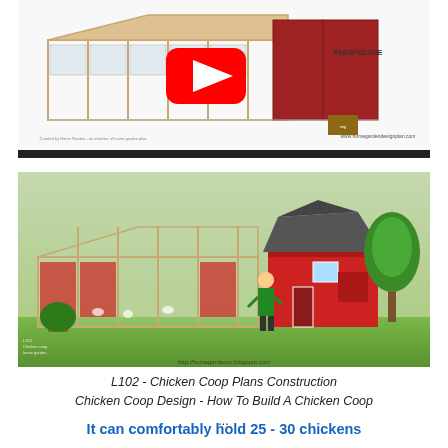[Figure (screenshot): Technical 3D rendering of a large chicken coop/run structure with wood framing and red panels, with YouTube play button overlay. Bottom shows www.homegardendesignplan.com watermark and PERSPECTIVE label.]
[Figure (photo): Rendered illustration of a large red barn-style chicken coop with an attached long wire-frame run. A person in green is shown beside it, with trees and green lawn in the background. URL watermark visible at bottom.]
L102 - Chicken Coop Plans Construction
Chicken Coop Design - How To Build A Chicken Coop
...
It can comfortably hold 25 - 30 chickens